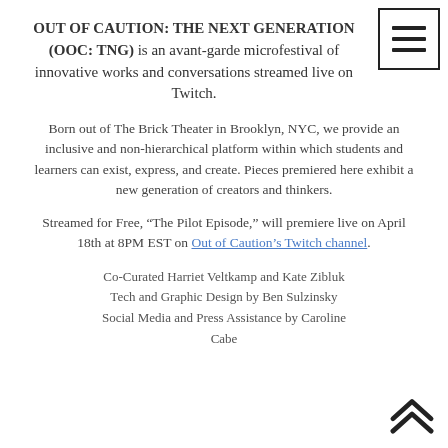OUT OF CAUTION: THE NEXT GENERATION (OOC: TNG) is an avant-garde microfestival of innovative works and conversations streamed live on Twitch.
Born out of The Brick Theater in Brooklyn, NYC, we provide an inclusive and non-hierarchical platform within which students and learners can exist, express, and create. Pieces premiered here exhibit a new generation of creators and thinkers.
Streamed for Free, “The Pilot Episode,” will premiere live on April 18th at 8PM EST on Out of Caution’s Twitch channel.
Co-Curated Harriet Veltkamp and Kate Zibluk
Tech and Graphic Design by Ben Sulzinsky
Social Media and Press Assistance by Caroline Cabe